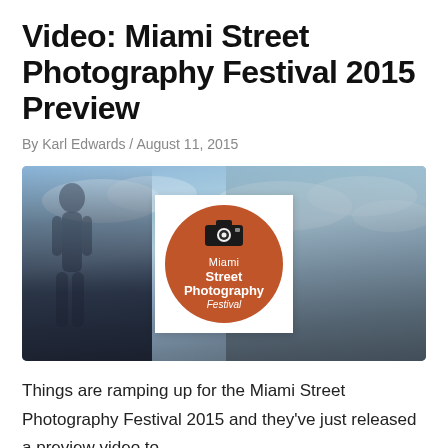Video: Miami Street Photography Festival 2015 Preview
By Karl Edwards / August 11, 2015
[Figure (photo): Blurred outdoor street scene with blue sky and clouds. A person walking is visible on the left side, blurred. Centered is a white square containing the Miami Street Photography Festival logo: an orange circle with a camera icon and text reading 'Miami Street Photography Festival'.]
Things are ramping up for the Miami Street Photography Festival 2015 and they've just released a preview video to